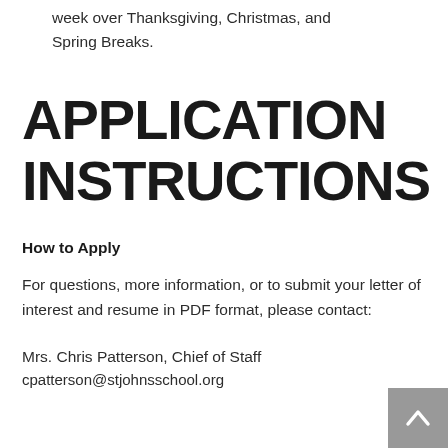week over Thanksgiving, Christmas, and Spring Breaks.
APPLICATION INSTRUCTIONS
How to Apply
For questions, more information, or to submit your letter of interest and resume in PDF format, please contact:
Mrs. Chris Patterson, Chief of Staff
cpatterson@stjohnsschool.org